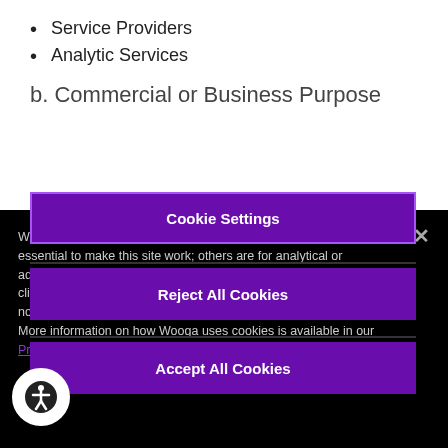Service Providers
Analytic Services
b. Commercial or Business Purpose
We use cookies to store information on your computer. Some are essential to make this site work; others are for analytical or advertising purposes and help us to improve your experience. By clicking “Accept All Cookies”, you agree also to the use of these non-essential cookies (and may revoke your consent at any time). More information on how Wooga uses cookies is available in our Privacy Notice
Cookie Settings
Reject All Cookies
Accept All Cookies